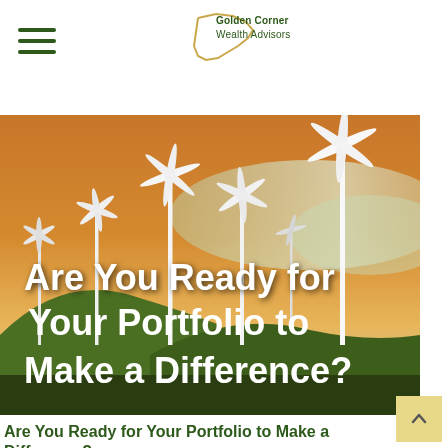Golden Corner Wealth Advisors
[Figure (photo): Wind turbines on a hilly landscape at sunset with clouds in the background. Overlaid white bold text reads: Are You Ready for Your Portfolio to Make a Difference?]
Are You Ready for Your Portfolio to Make a Difference?
Learn about the rise of Impact Investing and how it may benefit you.